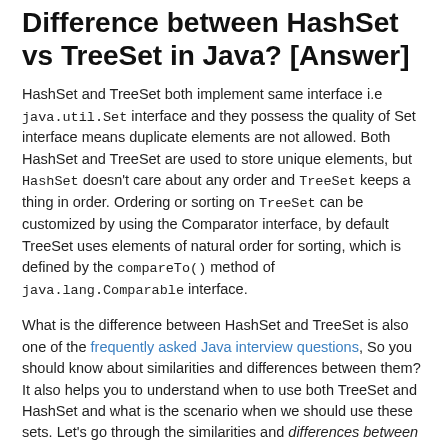Difference between HashSet vs TreeSet in Java? [Answer]
HashSet and TreeSet both implement same interface i.e java.util.Set interface and they possess the quality of Set interface means duplicate elements are not allowed. Both HashSet and TreeSet are used to store unique elements, but HashSet doesn't care about any order and TreeSet keeps a thing in order. Ordering or sorting on TreeSet can be customized by using the Comparator interface, by default TreeSet uses elements of natural order for sorting, which is defined by the compareTo() method of java.lang.Comparable interface.
What is the difference between HashSet and TreeSet is also one of the frequently asked Java interview questions, So you should know about similarities and differences between them? It also helps you to understand when to use both TreeSet and HashSet and what is the scenario when we should use these sets. Let's go through the similarities and differences between HashSet and TreeSet in Java.